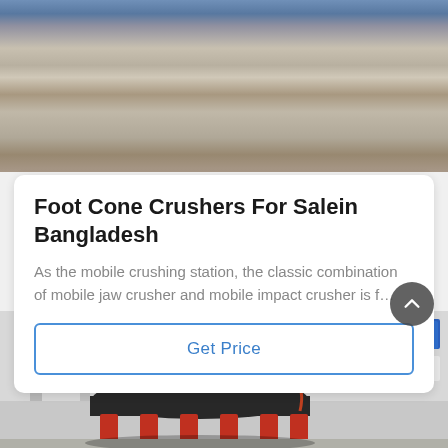[Figure (photo): Industrial photo showing heavy machinery / mobile crushing station on a warehouse or industrial floor, with blue trailer equipment visible]
Foot Cone Crushers For Salein Bangladesh
As the mobile crushing station, the classic combination of mobile jaw crusher and mobile impact crusher is f…
Get Price
[Figure (photo): Cone crusher machine (black/dark grey with red accents) inside an industrial facility with Chinese text signage visible in background]